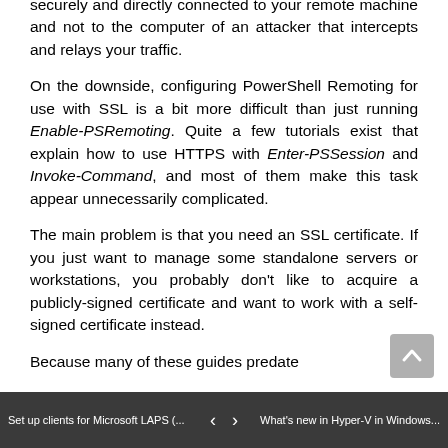securely and directly connected to your remote machine and not to the computer of an attacker that intercepts and relays your traffic.
On the downside, configuring PowerShell Remoting for use with SSL is a bit more difficult than just running Enable-PSRemoting. Quite a few tutorials exist that explain how to use HTTPS with Enter-PSSession and Invoke-Command, and most of them make this task appear unnecessarily complicated.
The main problem is that you need an SSL certificate. If you just want to manage some standalone servers or workstations, you probably don't like to acquire a publicly-signed certificate and want to work with a self-signed certificate instead.
Because many of these guides predate...
Set up clients for Microsoft LAPS (... < > What's new in Hyper-V in Windows...